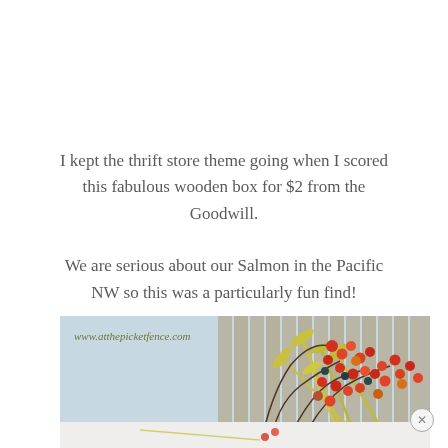I kept the thrift store theme going when I scored this fabulous wooden box for $2 from the Goodwill.

We are serious about our Salmon in the Pacific NW so this was a particularly fun find!
[Figure (photo): Decorative photo showing berry branches with red/orange berries and yellow-green foliage against a light blue background, with a wooden fence or similar structure. Watermark reads www.atthepicketfence.com]